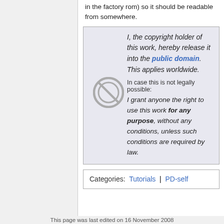in the factory rom) so it should be readable from somewhere.
I, the copyright holder of this work, hereby release it into the public domain. This applies worldwide.

In case this is not legally possible:

I grant anyone the right to use this work for any purpose, without any conditions, unless such conditions are required by law.
Categories: Tutorials | PD-self
This page was last edited on 16 November 2008